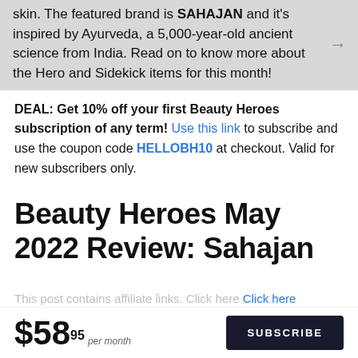skin. The featured brand is SAHAJAN and it's inspired by Ayurveda, a 5,000-year-old ancient science from India. Read on to know more about the Hero and Sidekick items for this month!
DEAL: Get 10% off your first Beauty Heroes subscription of any term! Use this link to subscribe and use the coupon code HELLOBH10 at checkout. Valid for new subscribers only.
Beauty Heroes May 2022 Review: Sahajan
This post contains affiliate links. Click here
$58.95 per month SUBSCRIBE